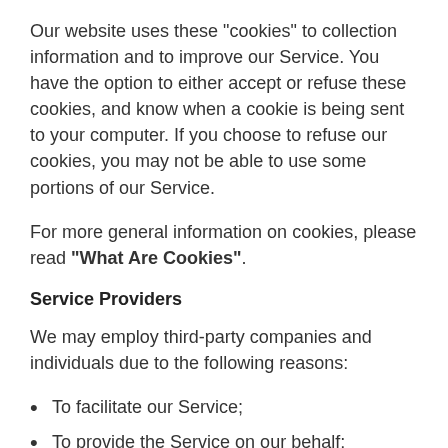Our website uses these "cookies" to collection information and to improve our Service. You have the option to either accept or refuse these cookies, and know when a cookie is being sent to your computer. If you choose to refuse our cookies, you may not be able to use some portions of our Service.
For more general information on cookies, please read "What Are Cookies".
Service Providers
We may employ third-party companies and individuals due to the following reasons:
To facilitate our Service;
To provide the Service on our behalf;